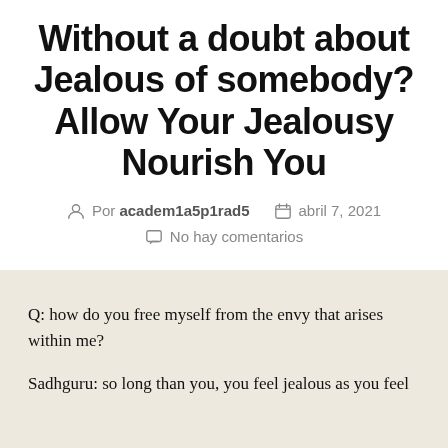Without a doubt about Jealous of somebody? Allow Your Jealousy Nourish You
Por academ1a5p1rad5   abril 7, 2021   No hay comentarios
Q: how do you free myself from the envy that arises within me?
Sadhguru: so long than you, you feel jealous as you feel